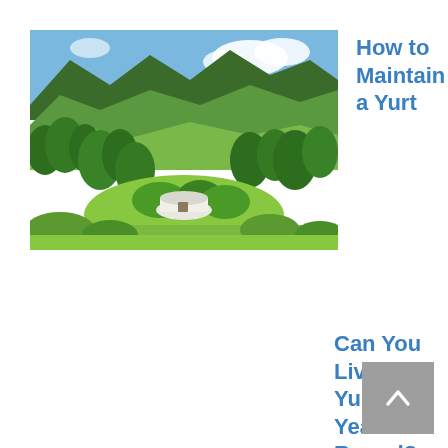[Figure (photo): Aerial/landscape photo of a white yurt in a lush green valley surrounded by forested mountains and green hills under a partly cloudy sky.]
How to Maintain a Yurt
Can You Live In a Yurt Year Round?